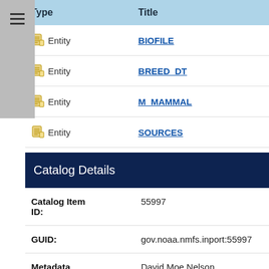| Type | Title |
| --- | --- |
| Entity | BIOFILE |
| Entity | BREED_DT |
| Entity | M_MAMMAL |
| Entity | SOURCES |
Catalog Details
| Field | Value |
| --- | --- |
| Catalog Item ID: | 55997 |
| GUID: | gov.noaa.nmfs.inport:55997 |
| Metadata Record Created By: | David Moe Nelson |